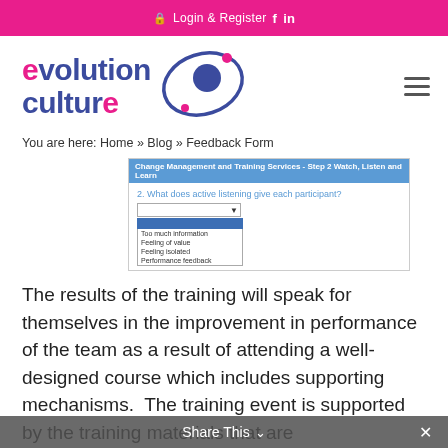Login & Register  f  in
[Figure (logo): Evolution Culture logo with pink and blue text and planet/eye orbit graphic]
You are here: Home » Blog » Feedback Form
[Figure (screenshot): Screenshot of a feedback form titled 'Change Management and Training Services - Step 2 Watch, Listen and Learn' showing question 2: 'What does active listening give each participant?' with a dropdown showing options: Too much information, Feeling of value, Feeling isolated, Performance feedback]
The results of the training will speak for themselves in the improvement in performance of the team as a result of attending a well-designed course which includes supporting mechanisms.  The training event is supported by the training materials that are
Share This  ∨  ✕